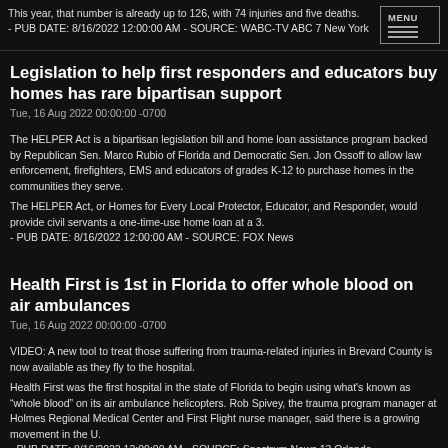This year, that number is already up to 126, with 74 injuries and five deaths.
- PUB DATE: 8/16/2022 12:00:00 AM - SOURCE: WABC-TV ABC 7 New York
Legislation to help first responders and educators buy homes has rare bipartisan support
Tue, 16 Aug 2022 00:00:00 -0700
The HELPER Act is a bipartisan legislation bill and home loan assistance program backed by Republican Sen. Marco Rubio of Florida and Democratic Sen. Jon Ossoff to allow law enforcement, firefighters, EMS and educators of grades K-12 to purchase homes in the communities they serve.
The HELPER Act, or Homes for Every Local Protector, Educator, and Responder, would provide civil servants a one-time-use home loan at a 3.
- PUB DATE: 8/16/2022 12:00:00 AM - SOURCE: FOX News
Health First is 1st in Florida to offer whole blood on air ambulances
Tue, 16 Aug 2022 00:00:00 -0700
VIDEO: A new tool to treat those suffering from trauma-related injuries in Brevard County is now available as they fly to the hospital.
Health First was the first hospital in the state of Florida to begin using what's known as “whole blood” on its air ambulance helicopters. Rob Spivey, the trauma program manager at Holmes Regional Medical Center and First Flight nurse manager, said there is a growing movement in the U.
- PUB DATE: 8/16/2022 12:00:00 AM - SOURCE: Spectrum News 13 Orlando